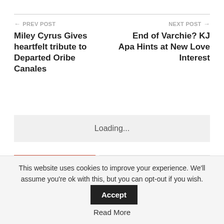← PREV POST
Miley Cyrus Gives heartfelt tribute to Departed Oribe Canales
NEXT POST →
End of Varchie? KJ Apa Hints at New Love Interest
Loading...
LEAVE A REPLY
Your email address will not be published.
This website uses cookies to improve your experience. We'll assume you're ok with this, but you can opt-out if you wish. Accept Read More